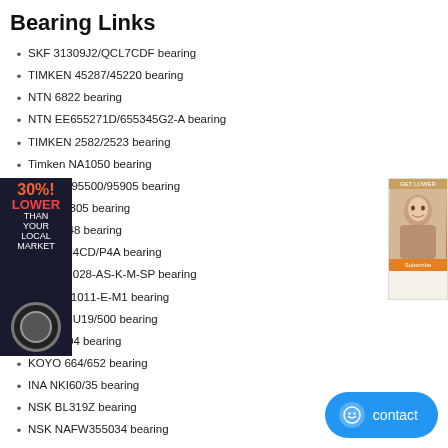Bearing Links
SKF 31309J2/QCL7CDF bearing
TIMKEN 45287/45220 bearing
NTN 6822 bearing
NTN EE655271D/655345G2-A bearing
TIMKEN 2582/2523 bearing
Timken NA1050 bearing
NTN 4T-95500/95905 bearing
NTN QJ305 bearing
NTN 7848 bearing
SKF 7044CD/P4A bearing
INA NN3028-AS-K-M-SP bearing
FAG NU1011-E-M1 bearing
KOYO NU19/500 bearing
FAG 6404 bearing
KOYO 664/652 bearing
INA NKI60/35 bearing
NSK BL319Z bearing
NSK NAFW355034 bearing
KOYO 6805 bearing
NSK 7930CTRSU bearing
[Figure (infographic): Ad banner on left: dark background with text '30%! LOWER THAN YOUR LOCAL MARKET' and a bearing circle image]
[Figure (photo): Ad banner on right: woman's face, promotional content]
[Figure (infographic): Blue contact button with chat icon at bottom right]